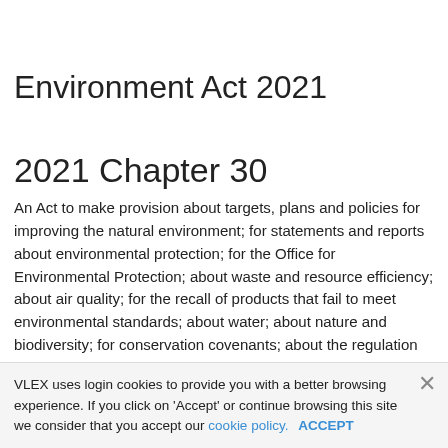Environment Act 2021
2021 Chapter 30
An Act to make provision about targets, plans and policies for improving the natural environment; for statements and reports about environmental protection; for the Office for Environmental Protection; about waste and resource efficiency; about air quality; for the recall of products that fail to meet environmental standards; about water; about nature and biodiversity; for conservation covenants; about the regulation of chemicals; and for
VLEX uses login cookies to provide you with a better browsing experience. If you click on 'Accept' or continue browsing this site we consider that you accept our cookie policy. ACCEPT